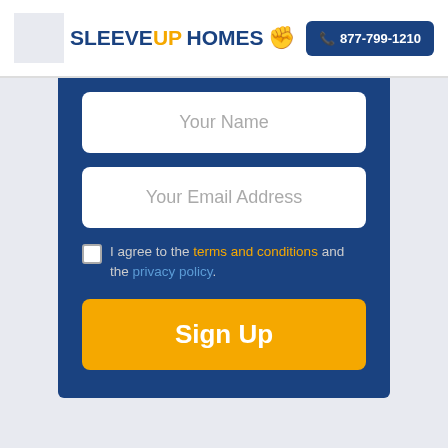[Figure (logo): SleeveUp Homes logo with fist icon]
877-799-1210
Your Name
Your Email Address
I agree to the terms and conditions and the privacy policy.
Sign Up